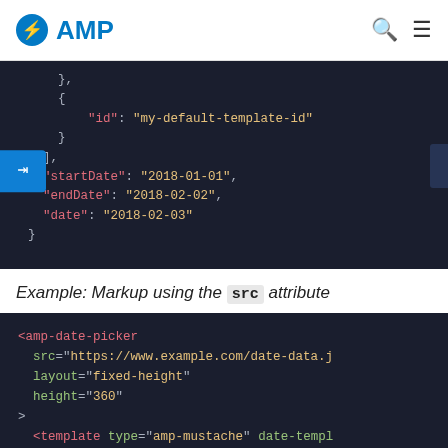AMP
[Figure (screenshot): Code block showing JSON with id, startDate, endDate, date fields on dark background with a navigation arrow button]
Example: Markup using the src attribute
[Figure (screenshot): Code block showing amp-date-picker HTML element with src, layout, height attributes and template tags on dark background]